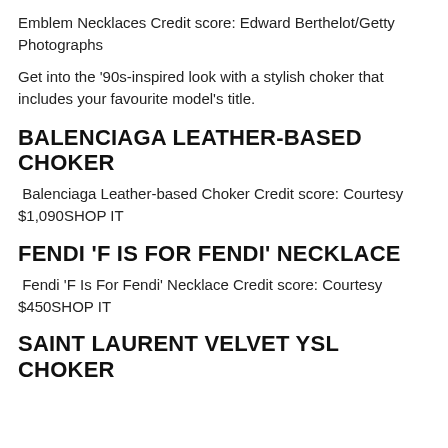Emblem Necklaces Credit score: Edward Berthelot/Getty Photographs
Get into the '90s-inspired look with a stylish choker that includes your favourite model's title.
BALENCIAGA LEATHER-BASED CHOKER
Balenciaga Leather-based Choker Credit score: Courtesy $1,090SHOP IT
FENDI 'F IS FOR FENDI' NECKLACE
Fendi 'F Is For Fendi' Necklace Credit score: Courtesy $450SHOP IT
SAINT LAURENT VELVET YSL CHOKER